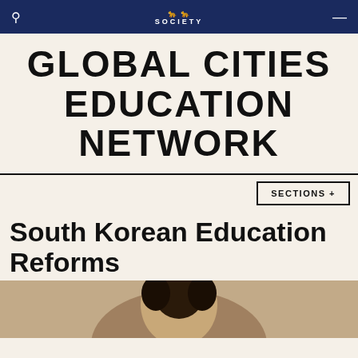ASIA SOCIETY
GLOBAL CITIES EDUCATION NETWORK
SECTIONS +
South Korean Education Reforms
[Figure (photo): Close-up photo of a person (partial, cropped at bottom of page)]